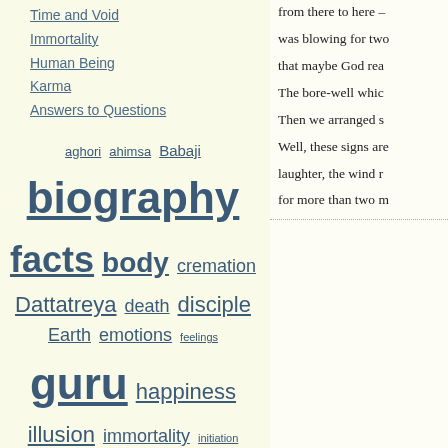Time and Void
Immortality
Human Being
Karma
Answers to Questions
aghori ahimsa Babaji biography facts body cremation Dattatreya death disciple Earth emotions feelings guru happiness illusion immortality initiation karma kriya yoga Lahiri Mahasaya love mind parikrama photo practice prana pranayama puja real-life story reincarnation religion samadhi self-preservation Shailendra's stories Shiva Shiva ling siddhi smashan society soul sound Om spirit time void yoga impact
from there to here – was blowing for two that maybe God rea The bore-well whic Then we arranged s Well, these signs are laughter, the wind r for more than two m